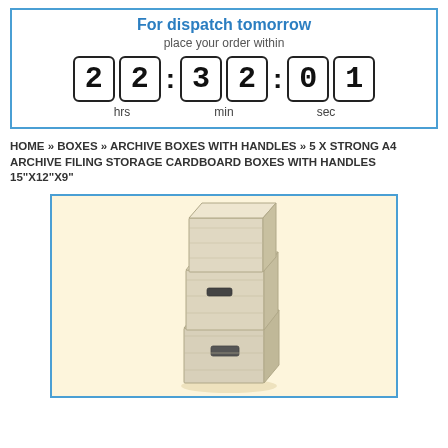[Figure (screenshot): Dispatch countdown timer box showing 22:32:01 with hrs, min, sec labels, bordered in blue]
HOME » BOXES » ARCHIVE BOXES WITH HANDLES » 5 X STRONG A4 ARCHIVE FILING STORAGE CARDBOARD BOXES WITH HANDLES 15"X12"X9"
[Figure (photo): Photo of stacked cardboard archive filing storage boxes with handles, beige/cream colored, shown against a warm cream background, inside a blue-bordered frame]